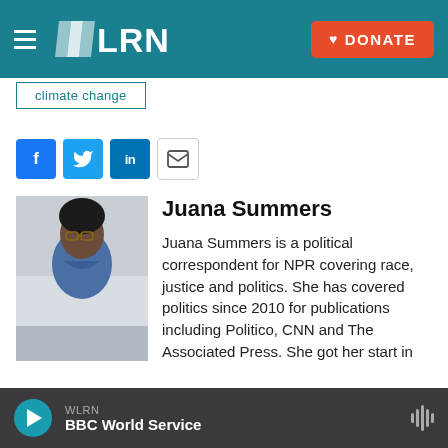WLRN | DONATE
climate change
[Figure (illustration): Social media share buttons: Facebook (blue), Twitter (blue), LinkedIn (blue), Email (outlined)]
[Figure (photo): Portrait photo of Juana Summers]
Juana Summers
Juana Summers is a political correspondent for NPR covering race, justice and politics. She has covered politics since 2010 for publications including Politico, CNN and The Associated Press. She got her start in
WLRN BBC World Service